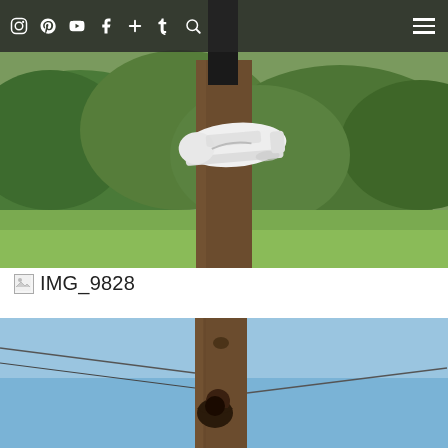[Figure (photo): A white Nike sneaker resting on a wooden utility pole, with green trees and grass in the background. Dark nav bar overlay at top with social media icons.]
⊙ ⊕ ▶ f + t 🔍   ≡
IMG_9828
[Figure (photo): A person climbing a wooden utility pole against a clear blue sky, with cables visible.]